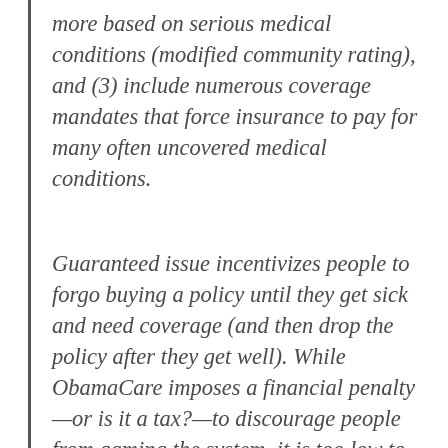more based on serious medical conditions (modified community rating), and (3) include numerous coverage mandates that force insurance to pay for many often uncovered medical conditions.
Guaranteed issue incentivizes people to forgo buying a policy until they get sick and need coverage (and then drop the policy after they get well). While ObamaCare imposes a financial penalty—or is it a tax?—to discourage people from gaming the system, it is too low to be a real disincentive. The result will be insurance pools that are